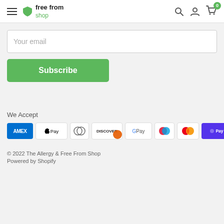free from shop
Your email
Subscribe
We Accept
[Figure (logo): Payment method icons: AMEX, Apple Pay, Diners Club, Discover, Google Pay, Maestro, Mastercard, Shop Pay, Visa]
© 2022 The Allergy & Free From Shop
Powered by Shopify